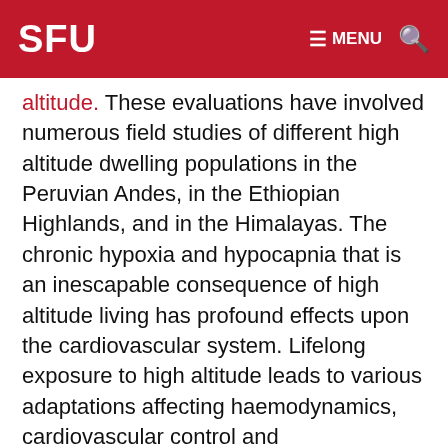SFU  ☰ MENU  🔍
altitude. These evaluations have involved numerous field studies of different high altitude dwelling populations in the Peruvian Andes, in the Ethiopian Highlands, and in the Himalayas. The chronic hypoxia and hypocapnia that is an inescapable consequence of high altitude living has profound effects upon the cardiovascular system. Lifelong exposure to high altitude leads to various adaptations affecting haemodynamics, cardiovascular control and cerebrovascular reactivity. The pattern of these adaptations varies in different high altitude populations, and not all high altitude residents adapt well to the environment in which they live. These studies have important implications for the millions of people